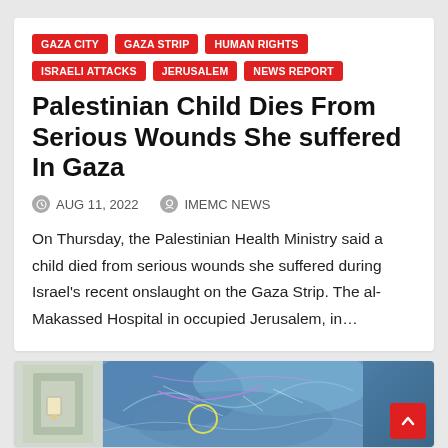GAZA CITY
GAZA STRIP
HUMAN RIGHTS
ISRAELI ATTACKS
JERUSALEM
NEWS REPORT
Palestinian Child Dies From Serious Wounds She suffered In Gaza
AUG 11, 2022
IMEMC NEWS
On Thursday, the Palestinian Health Ministry said a child died from serious wounds she suffered during Israel's recent onslaught on the Gaza Strip. The al-Makassed Hospital in occupied Jerusalem, in…
[Figure (map): Map image showing Gaza Strip region with satellite imagery, partially visible at the bottom of the page]